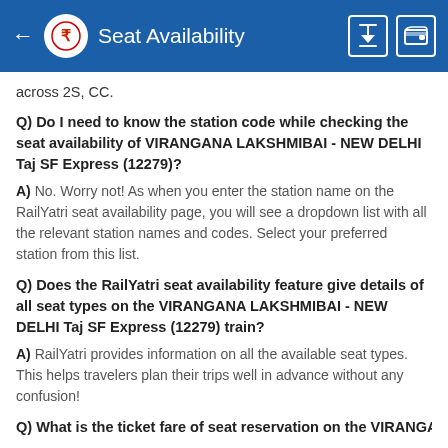Seat Availability
across 2S, CC.
Q) Do I need to know the station code while checking the seat availability of VIRANGANA LAKSHMIBAI - NEW DELHI Taj SF Express (12279)?
A) No. Worry not! As when you enter the station name on the RailYatri seat availability page, you will see a dropdown list with all the relevant station names and codes. Select your preferred station from this list.
Q) Does the RailYatri seat availability feature give details of all seat types on the VIRANGANA LAKSHMIBAI - NEW DELHI Taj SF Express (12279) train?
A) RailYatri provides information on all the available seat types. This helps travelers plan their trips well in advance without any confusion!
Q) What is the ticket fare of seat reservation on the VIRANGANA